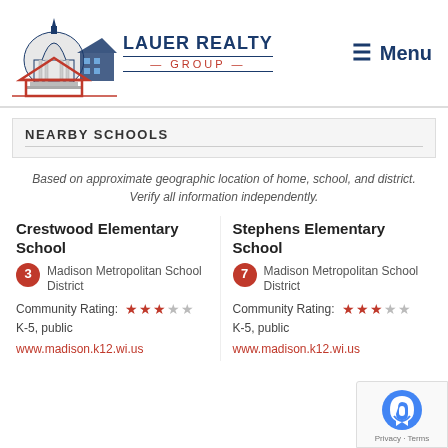[Figure (logo): Lauer Realty Group logo with capitol building and house illustration]
Menu
NEARBY SCHOOLS
Based on approximate geographic location of home, school, and district. Verify all information independently.
Crestwood Elementary School
Rating: 3 - Madison Metropolitan School District
Community Rating: 3 stars
K-5, public
www.madison.k12.wi.us
Stephens Elementary School
Rating: 7 - Madison Metropolitan School District
Community Rating: 3 stars
K-5, public
www.madison.k12.wi.us